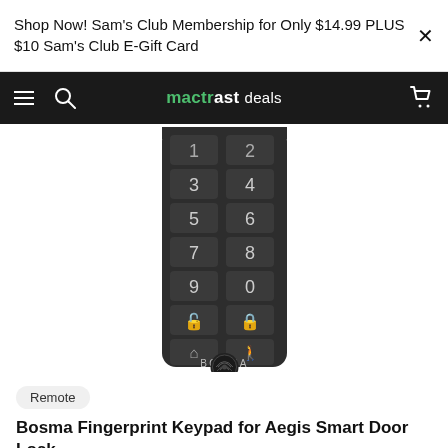Shop Now! Sam's Club Membership for Only $14.99 PLUS $10 Sam's Club E-Gift Card
mactrast deals
[Figure (photo): Bosma fingerprint keypad device — a dark grey/black rectangular keypad with numbered buttons 1-9 and 0, lock/unlock icons, home and person icons, BOSMA branding, and a circular fingerprint sensor at the bottom.]
Remote
Bosma Fingerprint Keypad for Aegis Smart Door Lock